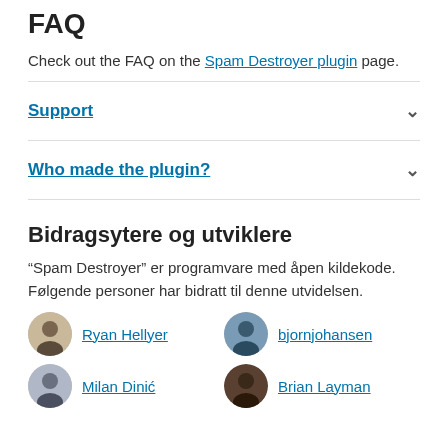FAQ
Check out the FAQ on the Spam Destroyer plugin page.
Support
Who made the plugin?
Bidragsytere og utviklere
“Spam Destroyer” er programvare med åpen kildekode. Følgende personer har bidratt til denne utvidelsen.
Ryan Hellyer
bjornjohansen
Milan Dinić
Brian Layman